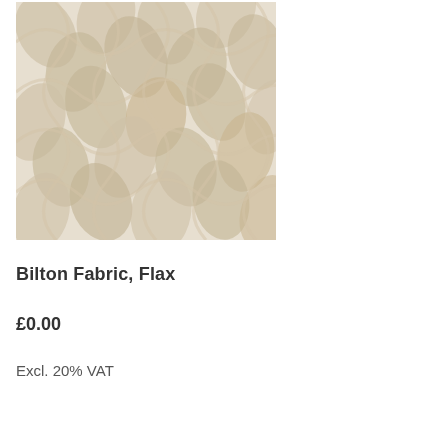[Figure (photo): Close-up photo of Bilton Fabric in Flax colorway showing a geometric lattice/trellis pattern in beige and cream tones with a textured weave.]
Bilton Fabric, Flax
£0.00
Excl. 20% VAT